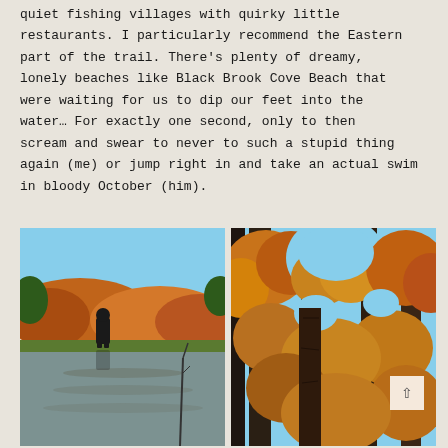quiet fishing villages with quirky little restaurants. I particularly recommend the Eastern part of the trail. There’s plenty of dreamy, lonely beaches like Black Brook Cove Beach that were waiting for us to dip our feet into the water… For exactly one second, only to then scream and swear to never to such a stupid thing again (me) or jump right in and take an actual swim in bloody October (him).
[Figure (photo): Person standing at edge of a calm lake surrounded by autumn foliage in shades of orange, red, and green. Blue sky above. Reflection of trees in the water.]
[Figure (photo): Looking up through tall tree trunks at autumn canopy of orange and brown leaves against a blue sky.]